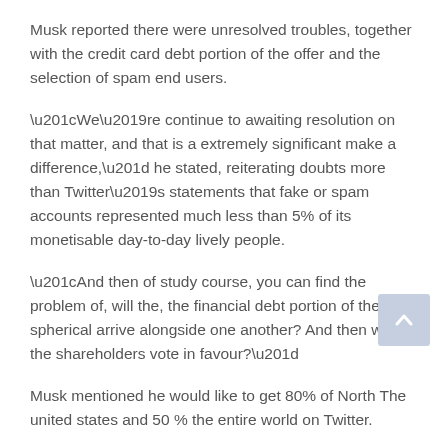Musk reported there were unresolved troubles, together with the credit card debt portion of the offer and the selection of spam end users.
“We’re continue to awaiting resolution on that matter, and that is a extremely significant make a difference,” he stated, reiterating doubts more than Twitter’s statements that fake or spam accounts represented much less than 5% of its monetisable day-to-day lively people.
“And then of study course, you can find the problem of, will the, the financial debt portion of the spherical arrive alongside one another? And then will the shareholders vote in favour?”
Musk mentioned he would like to get 80% of North The united states and 50 % the entire world on Twitter.
“My aspiration for Twitter is to be as inclusive as